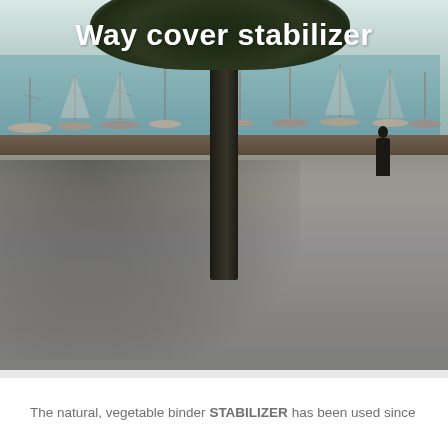[Figure (photo): Outdoor photo of a harbor promenade with stabilized gravel/compacted surface in the foreground, a quay wall with boats moored in the water behind it, a large tree in the center, and a person walking on the right side. White bold text overlay reads 'Way cover stabilizer'.]
Way cover stabilizer
The natural, vegetable binder STABILIZER has been used since